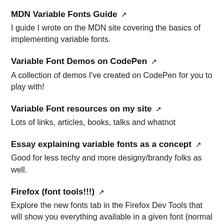MDN Variable Fonts Guide ↗
I guide I wrote on the MDN site covering the basics of implementing variable fonts.
Variable Font Demos on CodePen ↗
A collection of demos I've created on CodePen for you to play with!
Variable Font resources on my site ↗
Lots of links, articles, books, talks and whatnot
Essay explaining variable fonts as a concept ↗
Good for less techy and more designy/brandy folks as well.
Firefox (font tools!!!) ↗
Explore the new fonts tab in the Firefox Dev Tools that will show you everything available in a given font (normal or variable, but let's all agree that the variable ones are way